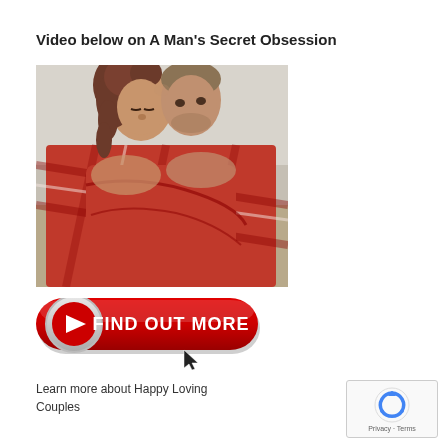Video below on A Man's Secret Obsession
[Figure (photo): A couple wrapped in a red plaid blanket, foreheads touching, in an outdoor setting]
[Figure (other): Red 'FIND OUT MORE' button with play icon and cursor arrow]
Learn more about Happy Loving Couples
[Figure (other): Google reCAPTCHA widget with Privacy and Terms links]